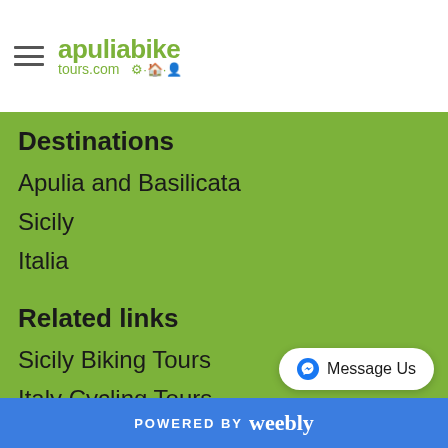apuliabike tours.com
Destinations
Apulia and Basilicata
Sicily
Italia
Related links
Sicily Biking Tours
Italy Cycling Tours
Quick links
Terms and Conditions
Standard Information
Contact us
POWERED BY weebly